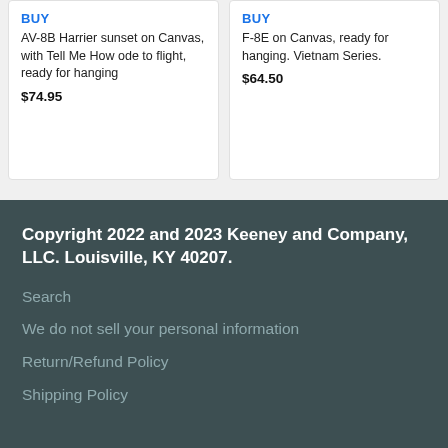BUY
AV-8B Harrier sunset on Canvas, with Tell Me How ode to flight, ready for hanging
$74.95
BUY
F-8E on Canvas, ready for hanging. Vietnam Series.
$64.50
Copyright 2022 and 2023 Keeney and Company, LLC. Louisville, KY 40207.
Search
We do not sell your personal information
Return/Refund Policy
Shipping Policy